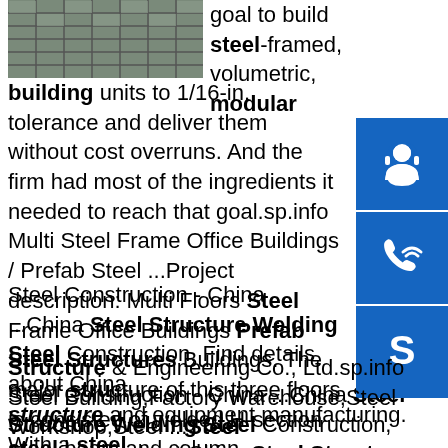[Figure (photo): Aerial or overhead photo of steel construction grid/structure]
goal to build steel-framed, volumetric, modular building units to 1/16-in. tolerance and deliver them without cost overruns. And the firm had most of the ingredients it needed to reach that goal.sp.info Multi Steel Frame Office Buildings / Prefab Steel ...Project description: Multi Floors Steel Frame Office Buildings Prefab Steel Structures Buildings. The major structure of this three floors is consisted of welded H-section steel beam and column. Glavanized steel floor decks is support floor concrete. Connection of the steel frame structure is by bolts.sp.info China Steel Structure Welding Steel Construction - China ...China Steel Structure Welding Steel Construction, Find details about China Steel Structure, Prefabricated House from Steel Structure Welding Steel Construction - Qingdao Yili Steel Structure & Engineering Co., Ltd.sp.info Steel Building,Factory Warehouse,Steel Workshop,Steel ...Steel structure and equipment manufacturing. With a steel
[Figure (infographic): Blue icon box with headset/customer service icon]
[Figure (infographic): Blue icon box with phone/call icon]
[Figure (infographic): Blue icon box with Skype icon]